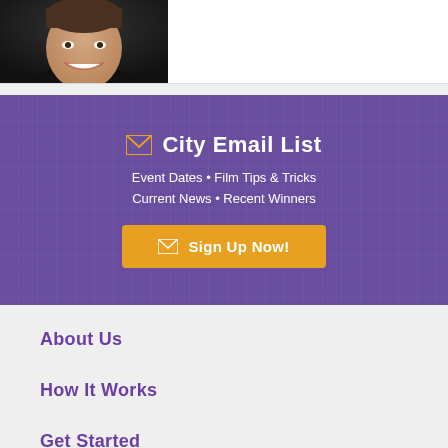[Figure (photo): Person's face/headshot photo in the top-left corner, dark background]
[Figure (infographic): Purple textured banner with City Email List heading, envelope icon, bullet points listing Event Dates, Film Tips & Tricks, Current News, Recent Winners, and a gold Sign Up Now! button]
About Us
How It Works
Get Started
Events